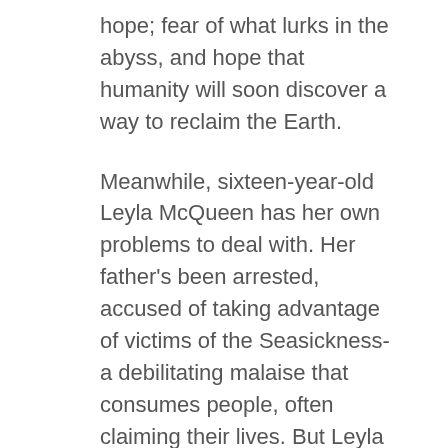hope; fear of what lurks in the abyss, and hope that humanity will soon discover a way to reclaim the Earth.
Meanwhile, sixteen-year-old Leyla McQueen has her own problems to deal with. Her father's been arrested, accused of taking advantage of victims of the Seasickness-a debilitating malaise that consumes people, often claiming their lives. But Leyla knows he's innocent, and all she's interested in is getting him back so that their lives can return to normal.
When she's picked to race in the action-packed London Submersible Marathon, Leyla gets the chance to secure his freedom; the Prime Minister promises the champion whatever their heart desires. The race takes an unexpected turn, though, and presents her with an opportunity she never expected. Leyla must venture...